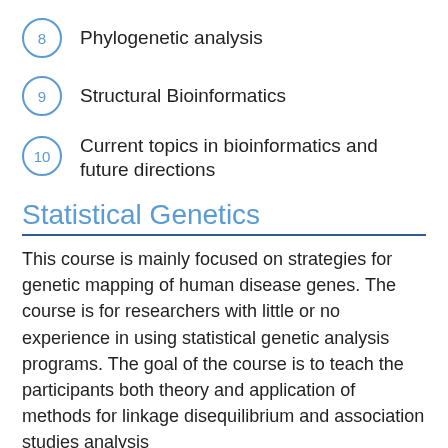8  Phylogenetic analysis
9  Structural Bioinformatics
10  Current topics in bioinformatics and future directions
Statistical Genetics
This course is mainly focused on strategies for genetic mapping of human disease genes. The course is for researchers with little or no experience in using statistical genetic analysis programs. The goal of the course is to teach the participants both theory and application of methods for linkage disequilibrium and association studies analysis